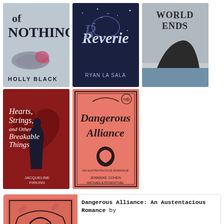[Figure (illustration): Grid of 5 book covers: Queen of Nothing by Holly Black (top left), Reverie by Ryan La Sala (top center), World Ends (top right), Hearts Strings and Other Breakable Things by Jacqueline Firkins (bottom left), Dangerous Alliance (bottom center).]
[Figure (illustration): Detail card showing close-up of Dangerous Alliance book cover (pink, ornate) on the left and text 'Dangerous Alliance: An Austentacious Romance by' on the right.]